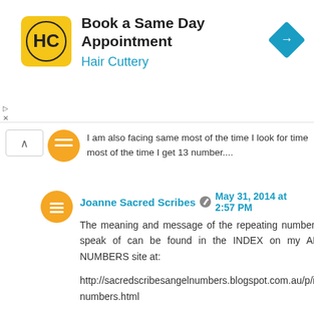[Figure (other): Hair Cuttery advertisement banner with logo, text 'Book a Same Day Appointment / Hair Cuttery', and a blue diamond navigation icon. Ad close/dismiss controls shown as triangle and X.]
I am also facing same most of the time I look for time most of the time I get 13 number....
Joanne Sacred Scribes  May 31, 2014 at 2:57 PM

The meaning and message of the repeating numbers you speak of can be found in the INDEX on my ANGEL NUMBERS site at:

http://sacredscribesangelnumbers.blogspot.com.au/p/index-numbers.html

Joanne
Sacred Scribes